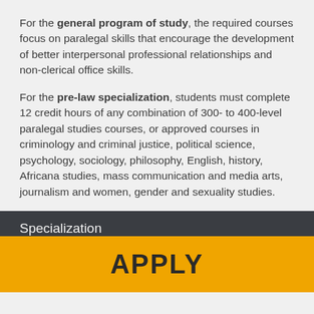For the general program of study, the required courses focus on paralegal skills that encourage the development of better interpersonal professional relationships and non-clerical office skills.
For the pre-law specialization, students must complete 12 credit hours of any combination of 300- to 400-level paralegal studies courses, or approved courses in criminology and criminal justice, political science, psychology, sociology, philosophy, English, history, Africana studies, mass communication and media arts, journalism and women, gender and sexuality studies.
Specialization
APPLY